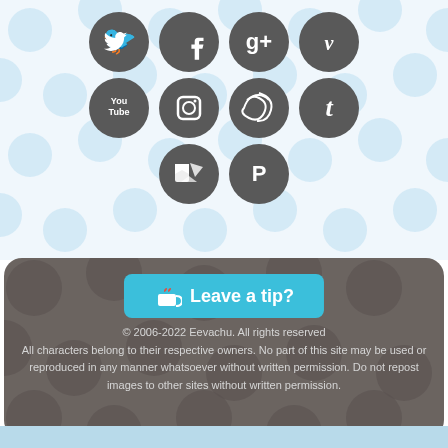[Figure (infographic): Social media icons arranged in 3 rows: Row 1: Twitter, Facebook, Google+, Vimeo; Row 2: YouTube, Instagram, Photobucket/Picasa, Tumblr; Row 3: Feedly/RSS, Patreon. All icons are dark grey circles with white logos on a light blue polka dot background.]
[Figure (infographic): Ko-fi 'Leave a tip?' button in cyan/teal color with heart and cup icon, on a dark grey rounded rectangle background with darker polka dot pattern.]
© 2006-2022 Eevachu. All rights reserved
All characters belong to their respective owners. No part of this site may be used or reproduced in any manner whatsoever without written permission. Do not repost images to other sites without written permission.